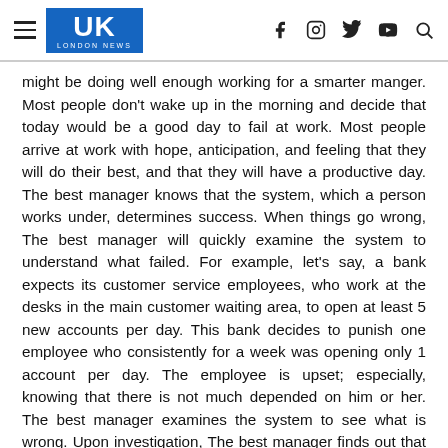UK London News
might be doing well enough working for a smarter manger. Most people don't wake up in the morning and decide that today would be a good day to fail at work. Most people arrive at work with hope, anticipation, and feeling that they will do their best, and that they will have a productive day. The best manager knows that the system, which a person works under, determines success. When things go wrong, The best manager will quickly examine the system to understand what failed. For example, let's say, a bank expects its customer service employees, who work at the desks in the main customer waiting area, to open at least 5 new accounts per day. This bank decides to punish one employee who consistently for a week was opening only 1 account per day. The employee is upset; especially, knowing that there is not much depended on him or her. The best manager examines the system to see what is wrong. Upon investigation, The best manager finds out that many factors may have lead to a poor week. The bank's credibility may have been impacted by